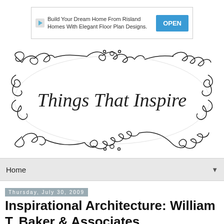[Figure (infographic): Advertisement banner: 'Build Your Dream Home From Risland Homes With Elegant Floor Plan Designs.' with play icon and OPEN button]
[Figure (logo): Decorative swirl/flourish border frame with cursive text 'Things That Inspire' in the center]
Home ▼
Thursday, July 30, 2009
Inspirational Architecture: William T. Baker & Associates